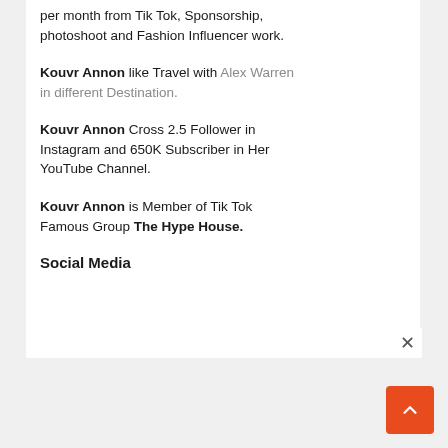per month from Tik Tok, Sponsorship, photoshoot and Fashion Influencer work.
Kouvr Annon like Travel with Alex Warren in different Destination.
Kouvr Annon Cross 2.5 Follower in Instagram and 650K Subscriber in Her YouTube Channel.
Kouvr Annon is Member of Tik Tok Famous Group The Hype House.
Social Media